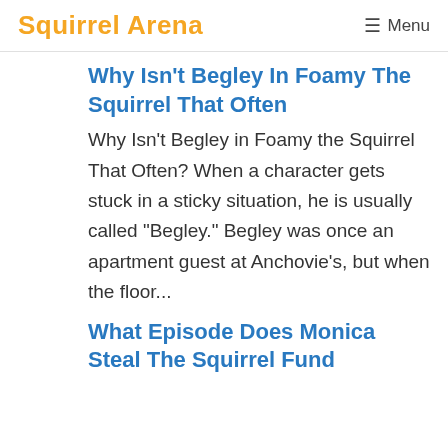Squirrel Arena  ☰ Menu
Why Isn't Begley In Foamy The Squirrel That Often
Why Isn't Begley in Foamy the Squirrel That Often? When a character gets stuck in a sticky situation, he is usually called "Begley." Begley was once an apartment guest at Anchovie's, but when the floor...
What Episode Does Monica Steal The Squirrel Fund